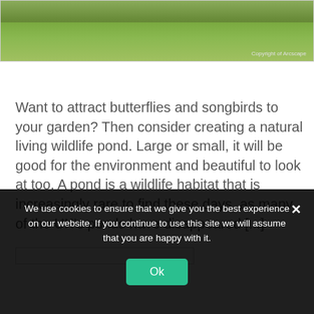[Figure (photo): Photograph of a garden or meadow area with green grass and wild plants. Copyright watermark reads 'Copyright of Arcscape' in bottom right.]
Want to attract butterflies and songbirds to your garden? Then consider creating a natural living wildlife pond. Large or small, it will be good for the environment and beautiful to look at too. A pond is a wildlife habitat that is increasingly rare to find these days, as many of the UK's ponds have disappeared [...]
We use cookies to ensure that we give you the best experience on our website. If you continue to use this site we will assume that you are happy with it.